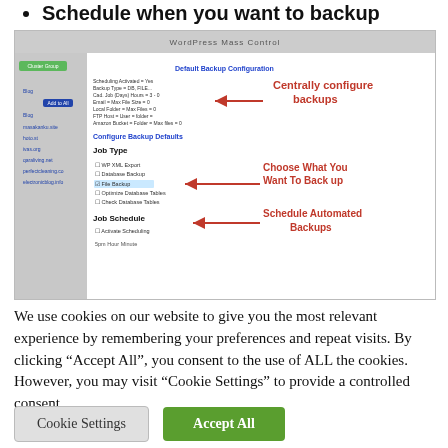Schedule when you want to backup
[Figure (screenshot): Screenshot of WordPress Mass Control plugin interface showing Default Backup Configuration panel with fields and job type checkboxes, annotated with red arrows and text: 'Centrally configure backups', 'Choose What You Want To Back up', 'Schedule Automated Backups']
We use cookies on our website to give you the most relevant experience by remembering your preferences and repeat visits. By clicking "Accept All", you consent to the use of ALL the cookies. However, you may visit "Cookie Settings" to provide a controlled consent.
Cookie Settings
Accept All